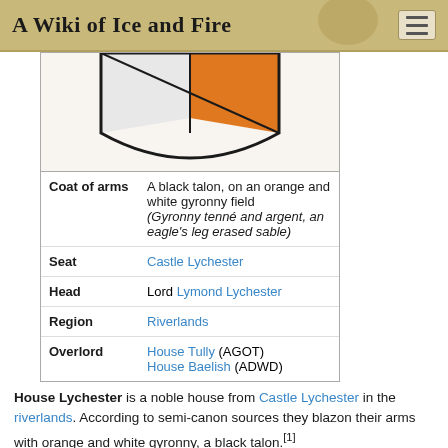A Wiki of Ice and Fire
[Figure (illustration): Partial heraldic shield showing orange and white gyronny pattern (black talon coat of arms for House Lychester), bottom half of shield visible]
| Coat of arms | A black talon, on an orange and white gyronny field (Gyronny tenné and argent, an eagle's leg erased sable) |
| Seat | Castle Lychester |
| Head | Lord Lymond Lychester |
| Region | Riverlands |
| Overlord | House Tully (AGOT)
House Baelish (ADWD) |
House Lychester is a noble house from Castle Lychester in the riverlands. According to semi-canon sources they blazon their arms with orange and white gyronny, a black talon.[1]
Contents
[hide]